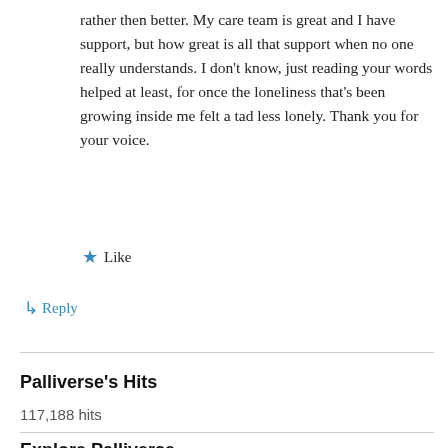rather then better. My care team is great and I have support, but how great is all that support when no one really understands. I don't know, just reading your words helped at least, for once the loneliness that's been growing inside me felt a tad less lonely. Thank you for your voice.
★ Like
↳ Reply
Palliverse's Hits
117,188 hits
Explore Palliverse